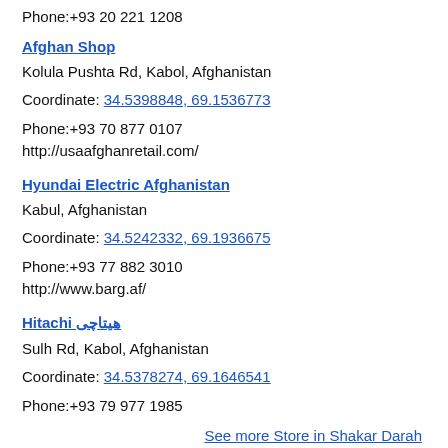Phone:+93 20 221 1208
Afghan Shop
Kolula Pushta Rd, Kabol, Afghanistan
Coordinate: 34.5398848, 69.1536773
Phone:+93 70 877 0107
http://usaafghanretail.com/
Hyundai Electric Afghanistan
Kabul, Afghanistan
Coordinate: 34.5242332, 69.1936675
Phone:+93 77 882 3010
http://www.barg.af/
Hitachi هیتاچی
Sulh Rd, Kabol, Afghanistan
Coordinate: 34.5378274, 69.1646541
Phone:+93 79 977 1985
See more Store in Shakar Darah